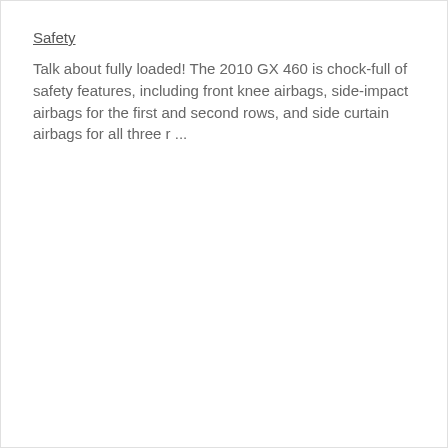Safety
Talk about fully loaded! The 2010 GX 460 is chock-full of safety features, including front knee airbags, side-impact airbags for the first and second rows, and side curtain airbags for all three r ...